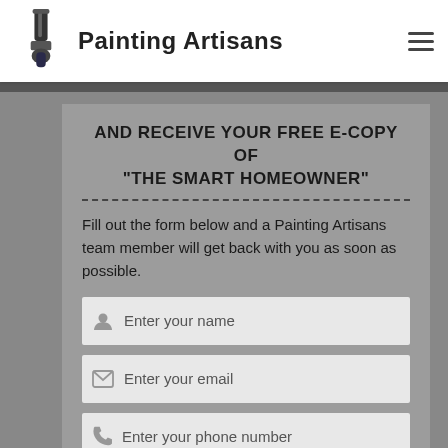[Figure (logo): Paint brush icon logo for Painting Artisans]
Painting Artisans
AND RECEIVE YOUR FREE E-COPY OF "THE SMART HOMEOWNER"
Fill out the form below and a Painting Artisans team member will get back with you as soon as possible.
Enter your name
Enter your email
Enter your phone number